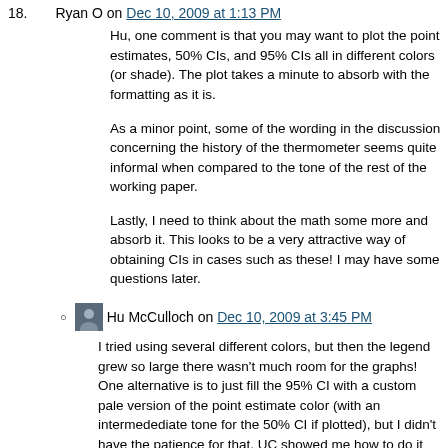18. Ryan O on Dec 10, 2009 at 1:13 PM
Hu, one comment is that you may want to plot the point estimates, 50% CIs, and 95% CIs all in different colors (or shade). The plot takes a minute to absorb with the formatting as it is.
As a minor point, some of the wording in the discussion concerning the history of the thermometer seems quite informal when compared to the tone of the rest of the working paper.
Lastly, I need to think about the math some more and absorb it. This looks to be a very attractive way of obtaining CIs in cases such as these! I may have some questions later.
Hu McCulloch on Dec 10, 2009 at 3:45 PM
I tried using several different colors, but then the legend grew so large there wasn't much room for the graphs! One alternative is to just fill the 95% CI with a custom pale version of the point estimate color (with an intermedediate tone for the 50% CI if plotted), but I didn't have the patience for that. UC showed me how to do it once using Matlab's fill command, with a special “trick” if I may use that term, to suppress the edge lines of the polygons.
I’m trying to be expansive in the WP, with the idea that it will become the SI for a future, greatly abridged journal article. While I’m hoping this post elicits